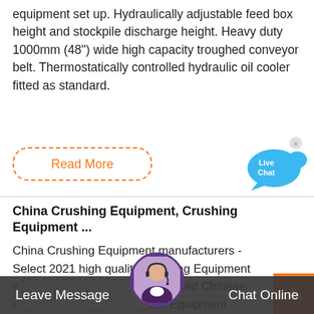equipment set up. Hydraulically adjustable feed box height and stockpile discharge height. Heavy duty 1000mm (48") wide high capacity troughed conveyor belt. Thermostatically controlled hydraulic oil cooler fitted as standard.
[Figure (other): Orange dashed rounded rectangle button with text 'Read More' in orange]
[Figure (other): Live Chat bubble icon in blue with 'Live Chat' text and an X close button]
China Crushing Equipment, Crushing Equipment ...
China Crushing Equipment manufacturers - Select 2021 high quality Crushing Equipment products in best price from certified Chinese Mining Equipment, Exhibition Equipment suppliers, wholesalers and factory on Made-in-China
[Figure (other): Grey dashed rounded rectangle button with text 'Read More']
[Figure (other): Orange square scroll-to-top button with upward chevron arrow]
[Figure (photo): Avatar photo of a woman wearing a headset]
Leave Message   Chat Online